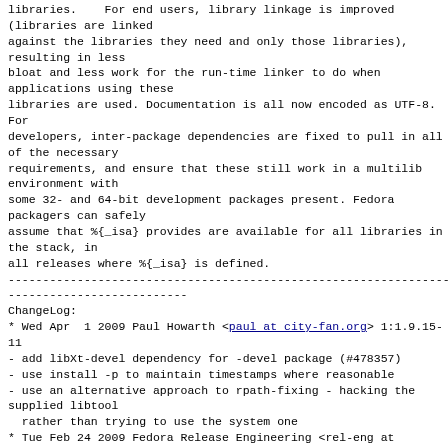libraries.    For end users, library linkage is improved (libraries are linked
against the libraries they need and only those libraries), resulting in less
bloat and less work for the run-time linker to do when applications using these
libraries are used. Documentation is all now encoded as UTF-8.    For
developers, inter-package dependencies are fixed to pull in all of the necessary
requirements, and ensure that these still work in a multilib environment with
some 32- and 64-bit development packages present. Fedora packagers can safely
assume that %{_isa} provides are available for all libraries in the stack, in
all releases where %{_isa} is defined.
------------------------------------------------------------------------
--------------------------
ChangeLog:
* Wed Apr  1 2009 Paul Howarth <paul at city-fan.org> 1:1.9.15-11
- add libXt-devel dependency for -devel package (#478357)
- use install -p to maintain timestamps where reasonable
- use an alternative approach to rpath-fixing - hacking the supplied libtool
  rather than trying to use the system one
* Tue Feb 24 2009 Fedora Release Engineering <rel-eng at